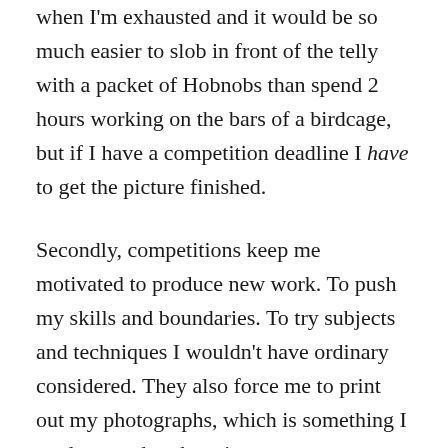when I'm exhausted and it would be so much easier to slob in front of the telly with a packet of Hobnobs than spend 2 hours working on the bars of a birdcage, but if I have a competition deadline I have to get the picture finished.
Secondly, competitions keep me motivated to produce new work. To push my skills and boundaries. To try subjects and techniques I wouldn't have ordinary considered. They also force me to print out my photographs, which is something I tend not to do otherwise as my commercial pictures are printed at a professional lab.